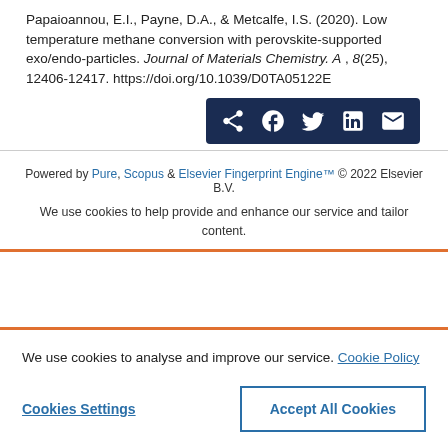Papaioannou, E.I., Payne, D.A., & Metcalfe, I.S. (2020). Low temperature methane conversion with perovskite-supported exo/endo-particles. Journal of Materials Chemistry. A, 8(25), 12406-12417. https://doi.org/10.1039/D0TA05122E
[Figure (screenshot): Social share bar with icons for share, Facebook, Twitter, LinkedIn, and email on a dark navy background]
Powered by Pure, Scopus & Elsevier Fingerprint Engine™ © 2022 Elsevier B.V.
We use cookies to help provide and enhance our service and tailor content.
We use cookies to analyse and improve our service. Cookie Policy
Cookies Settings
Accept All Cookies